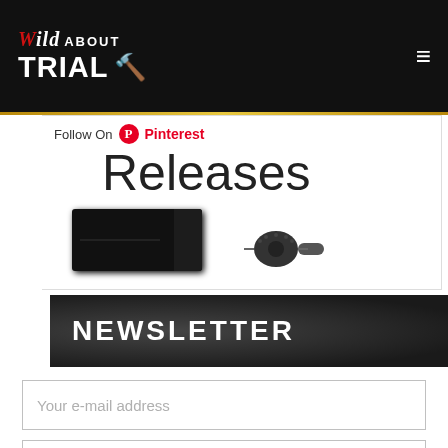Wild About Trial — website header with logo and navigation hamburger menu
[Figure (screenshot): Partial view of a 'Follow On Pinterest' bar and 'Releases' heading with product images (PS4 console and microphone) visible below]
NEWSLETTER
Your e-mail address
SUBSCRIBE